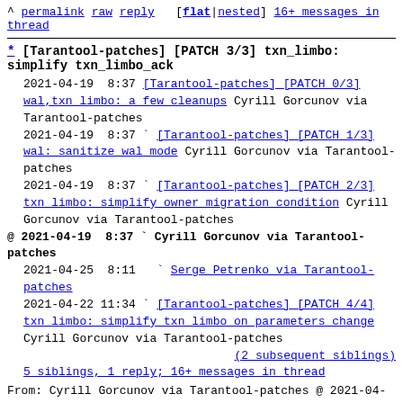^ permalink raw reply [flat|nested] 16+ messages in thread
* [Tarantool-patches] [PATCH 3/3] txn_limbo: simplify txn_limbo_ack
2021-04-19  8:37  [Tarantool-patches] [PATCH 0/3] wal,txn limbo: a few cleanups  Cyrill Gorcunov via Tarantool-patches
2021-04-19  8:37  [Tarantool-patches] [PATCH 1/3] wal: sanitize wal mode  Cyrill Gorcunov via Tarantool-patches
2021-04-19  8:37  [Tarantool-patches] [PATCH 2/3] txn limbo: simplify owner migration condition  Cyrill Gorcunov via Tarantool-patches
@ 2021-04-19  8:37  Cyrill Gorcunov via Tarantool-patches
2021-04-25  8:11  Serge Petrenko via Tarantool-patches
2021-04-22 11:34  [Tarantool-patches] [PATCH 4/4] txn limbo: simplify txn limbo on parameters change  Cyrill Gorcunov via Tarantool-patches
(2 subsequent siblings)
5 siblings, 1 reply; 16+ messages in thread
From: Cyrill Gorcunov via Tarantool-patches @ 2021-04-19  8:37 UTC (permalink / raw)
To: tml; +Cc: Vladislav Shpilevoy
There is no need to test @confirm_lsn at all because even with value -1 we're to continue iterating the